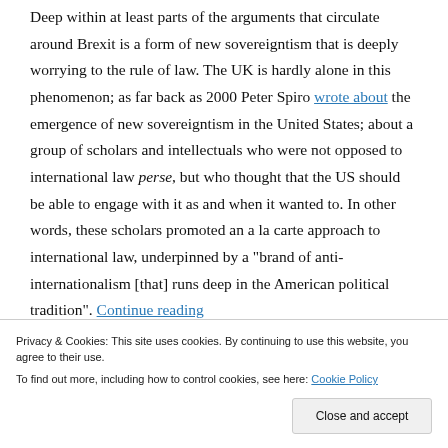Deep within at least parts of the arguments that circulate around Brexit is a form of new sovereigntism that is deeply worrying to the rule of law. The UK is hardly alone in this phenomenon; as far back as 2000 Peter Spiro wrote about the emergence of new sovereigntism in the United States; about a group of scholars and intellectuals who were not opposed to international law perse, but who thought that the US should be able to engage with it as and when it wanted to. In other words, these scholars promoted an a la carte approach to international law, underpinned by a "brand of anti-internationalism [that] runs deep in the American political tradition" Continue reading
Privacy & Cookies: This site uses cookies. By continuing to use this website, you agree to their use.
To find out more, including how to control cookies, see here: Cookie Policy